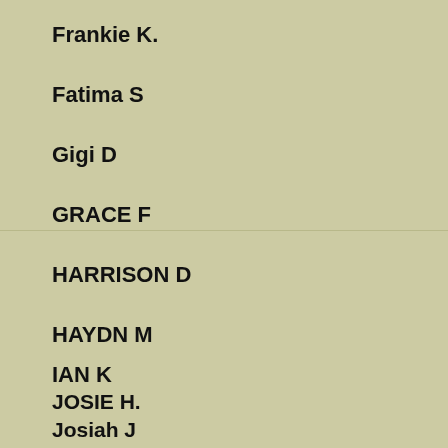Frankie K.
Fatima S
Gigi D
GRACE F
HARRISON D
HAYDN M
IAN K
JOSIE H.
Josiah J